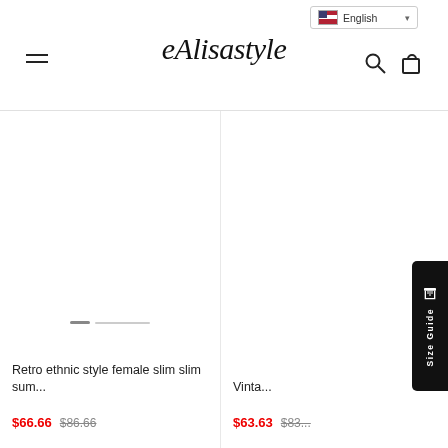eAlisastyle
[Figure (screenshot): Blank product image area with slider dots indicator for first product]
Retro ethnic style female slim slim sum...
$66.66  $86.66
[Figure (screenshot): Blank product image area for second product (partially visible)]
Vinta...
$63.63  $83...